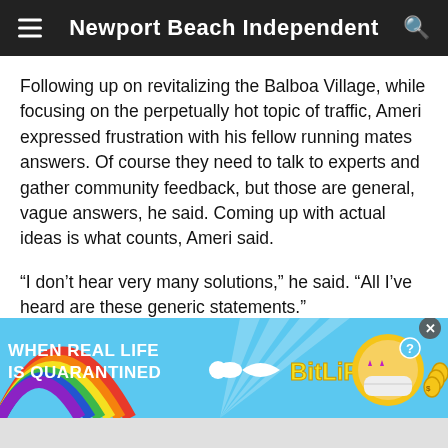Newport Beach Independent
Following up on revitalizing the Balboa Village, while focusing on the perpetually hot topic of traffic, Ameri expressed frustration with his fellow running mates answers. Of course they need to talk to experts and gather community feedback, but those are general, vague answers, he said. Coming up with actual ideas is what counts, Ameri said.
“I don’t hear very many solutions,” he said. “All I’ve heard are these generic statements.”
[Figure (screenshot): BitLife advertisement banner: colorful rainbow on left, text 'WHEN REAL LIFE IS QUARANTINED' in bold white, sperm cell arrow graphic, BitLife logo in yellow bold text, cartoon ball character with star mask wearing Covid mask, and gold coins icon on right. Close (X) and help (?) buttons top right.]